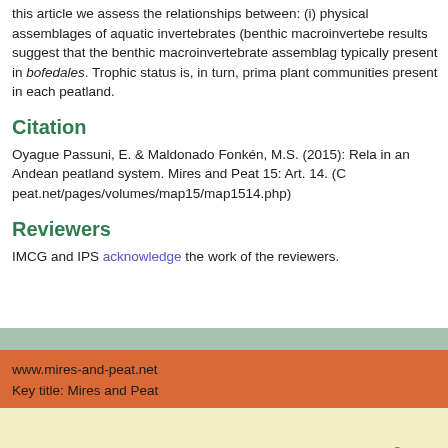this article we assess the relationships between: (i) physical assemblages of aquatic invertebrates (benthic macroinvertebrates). Our results suggest that the benthic macroinvertebrate assemblage is typically present in bofedales. Trophic status is, in turn, primarily controlled by plant communities present in each peatland.
Citation
Oyague Passuni, E. & Maldonado Fonkén, M.S. (2015): Relationships in an Andean peatland system. Mires and Peat 15: Art. 14. (Copyright mires-and-peat.net/pages/volumes/map15/map1514.php)
Reviewers
IMCG and IPS acknowledge the work of the reviewers.
www.mires-and-peat.net
Key title: Mires and Peat
data protection | imprint
© 2022